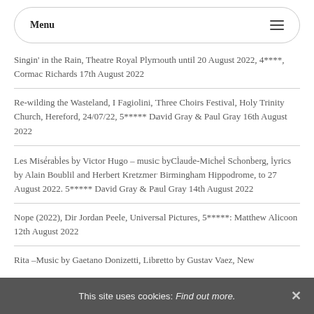Menu
Singin' in the Rain, Theatre Royal Plymouth until 20 August 2022, 4****, Cormac Richards 17th August 2022
Re-wilding the Wasteland, I Fagiolini, Three Choirs Festival, Holy Trinity Church, Hereford, 24/07/22, 5***** David Gray & Paul Gray 16th August 2022
Les Misérables by Victor Hugo – music byClaude-Michel Schonberg, lyrics by Alain Boublil and Herbert Kretzmer Birmingham Hippodrome, to 27 August 2022. 5***** David Gray & Paul Gray 14th August 2022
Nope (2022), Dir Jordan Peele, Universal Pictures, 5*****: Matthew Alicoon 12th August 2022
Rita –Music by Gaetano Donizetti, Libretto by Gustav Vaez, New
This site uses cookies: Find out more.